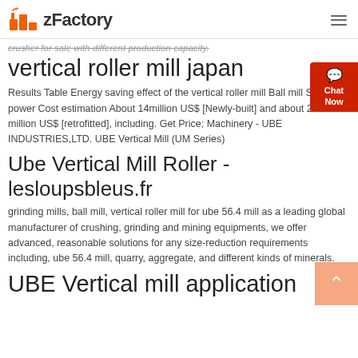zFactory
crusher for sale with different production capacity.
vertical roller mill japan
Results Table Energy saving effect of the vertical roller mill Ball mill Specific power Cost estimation About 14million US$ [Newly-built] and about 230 million US$ [retrofitted], including. Get Price; Machinery - UBE INDUSTRIES,LTD. UBE Vertical Mill (UM Series)
Ube Vertical Mill Roller - lesloupsbleus.fr
grinding mills, ball mill, vertical roller mill for ube 56.4 mill as a leading global manufacturer of crushing, grinding and mining equipments, we offer advanced, reasonable solutions for any size-reduction requirements including, ube 56.4 mill, quarry, aggregate, and different kinds of minerals.
UBE Vertical mill application